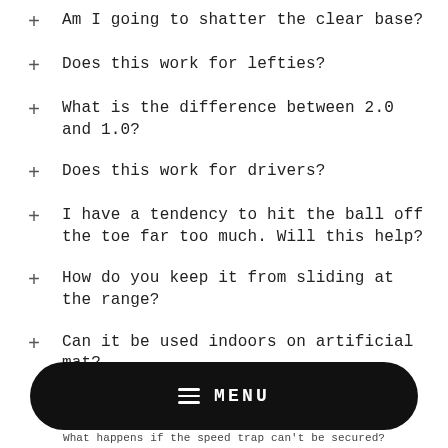+ Am I going to shatter the clear base?
+ Does this work for lefties?
+ What is the difference between 2.0 and 1.0?
+ Does this work for drivers?
+ I have a tendency to hit the ball off the toe far too much. Will this help?
+ How do you keep it from sliding at the range?
+ Can it be used indoors on artificial mat?
What happens if the speed trap can't be secured?